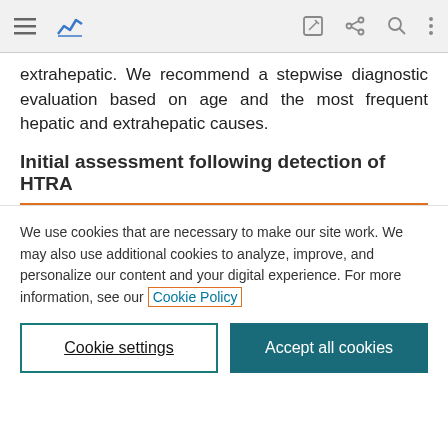[Toolbar with menu, chart, edit, share, search, more icons]
extrahepatic. We recommend a stepwise diagnostic evaluation based on age and the most frequent hepatic and extrahepatic causes.
Initial assessment following detection of HTRA
We use cookies that are necessary to make our site work. We may also use additional cookies to analyze, improve, and personalize our content and your digital experience. For more information, see our Cookie Policy
Cookie settings
Accept all cookies